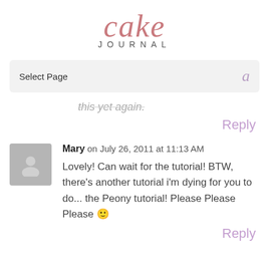cake JOURNAL
Select Page
this yet again.
Reply
Mary on July 26, 2011 at 11:13 AM
Lovely! Can wait for the tutorial! BTW, there’s another tutorial i’m dying for you to do... the Peony tutorial! Please Please Please 🙂
Reply